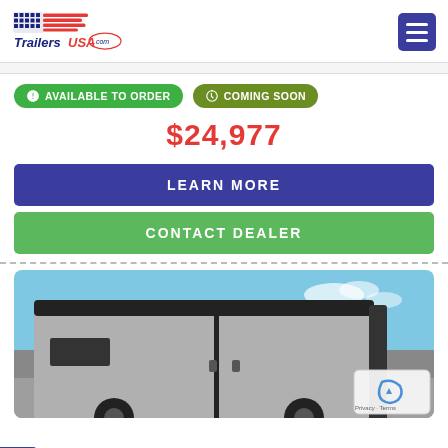TrailersUSA.com
AVAILABLE TO ORDER
COMING SOON
$24,977
LEARN MORE
CONTACT DEALER
[Figure (photo): Gray enclosed cargo trailer with black trim and rear double doors, photographed outdoors under a blue sky.]